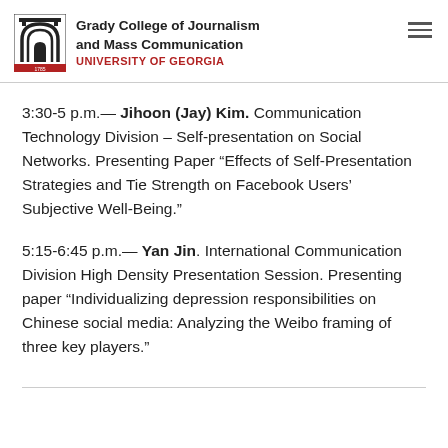Grady College of Journalism and Mass Communication — UNIVERSITY OF GEORGIA
3:30-5 p.m.— Jihoon (Jay) Kim. Communication Technology Division – Self-presentation on Social Networks. Presenting Paper "Effects of Self-Presentation Strategies and Tie Strength on Facebook Users' Subjective Well-Being."
5:15-6:45 p.m.— Yan Jin. International Communication Division High Density Presentation Session. Presenting paper "Individualizing depression responsibilities on Chinese social media: Analyzing the Weibo framing of three key players."